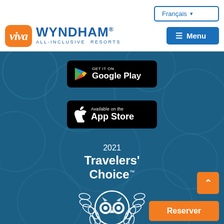[Figure (screenshot): Viva Wyndham All-Inclusive Resorts website header with navigation bar showing Français language selector, Viva logo (orange square with cursive Viva text), Wyndham brand name in blue, and blue Menu button]
[Figure (logo): Google Play badge — black rounded rectangle with Google Play triangle icon and text GET IT ON Google Play]
[Figure (logo): App Store badge — black rounded rectangle with Apple logo and text Available on the App Store]
[Figure (logo): 2021 Travelers' Choice Tripadvisor award logo with white owl emblem and laurel wreath on dark blue background]
[Figure (other): Orange back-to-top arrow button]
[Figure (other): Orange Reserver button]